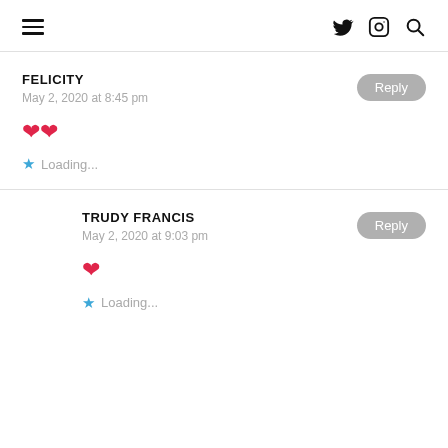≡  [twitter] [instagram] [search]
FELICITY
May 2, 2020 at 8:45 pm
❤❤
★ Loading...
TRUDY FRANCIS
May 2, 2020 at 9:03 pm
❤
★ Loading...